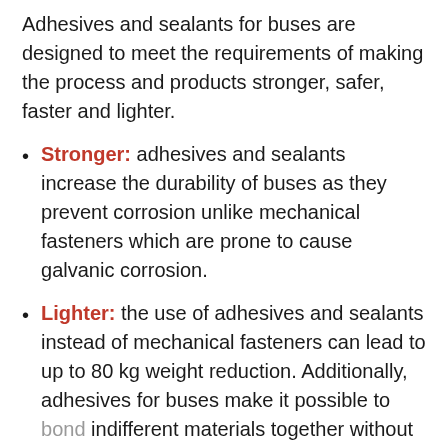Adhesives and sealants for buses are designed to meet the requirements of making the process and products stronger, safer, faster and lighter.
Stronger: adhesives and sealants increase the durability of buses as they prevent corrosion unlike mechanical fasteners which are prone to cause galvanic corrosion.
Lighter: the use of adhesives and sealants instead of mechanical fasteners can lead to up to 80 kg weight reduction. Additionally, adhesives for buses make it possible to bond indifferent materials together without needing to worry about damaging either of